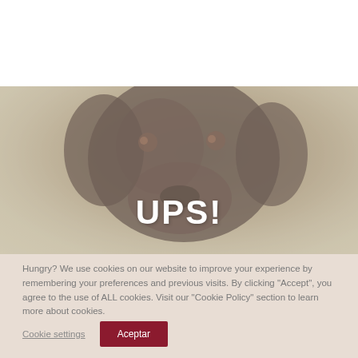[Figure (photo): A close-up photo of a dark brown/black Labrador dog looking at the camera, with a blurred green outdoor background. The image has a washed-out, muted overlay. The text 'UPS!' appears in large bold white letters centered over the lower portion of the image.]
UPS!
Hungry? We use cookies on our website to improve your experience by remembering your preferences and previous visits. By clicking "Accept", you agree to the use of ALL cookies. Visit our "Cookie Policy" section to learn more about cookies.